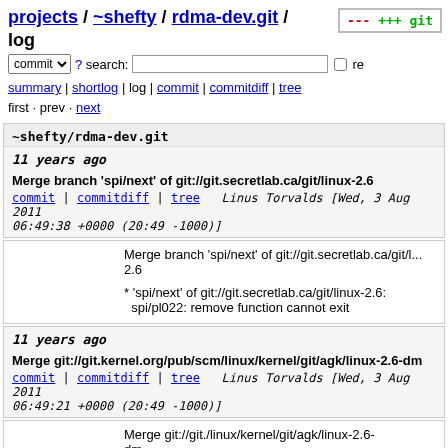projects / ~shefty / rdma-dev.git / log
commit ? search: re
summary | shortlog | log | commit | commitdiff | tree
first · prev · next
~shefty/rdma-dev.git
11 years ago   Merge branch 'spi/next' of git://git.secretlab.ca/git/linux-2.6
commit | commitdiff | tree   Linus Torvalds [Wed, 3 Aug 2011 06:49:38 +0000 (20:49 -1000)]
Merge branch 'spi/next' of git://git.secretlab.ca/git/linux-2.6

* 'spi/next' of git://git.secretlab.ca/git/linux-2.6:
  spi/pl022: remove function cannot exit
11 years ago   Merge git://git.kernel.org/pub/scm/linux/kernel/git/agk/linux-2.6-dm
commit | commitdiff | tree   Linus Torvalds [Wed, 3 Aug 2011 06:49:21 +0000 (20:49 -1000)]
Merge git://git./linux/kernel/git/agk/linux-2.6-dm